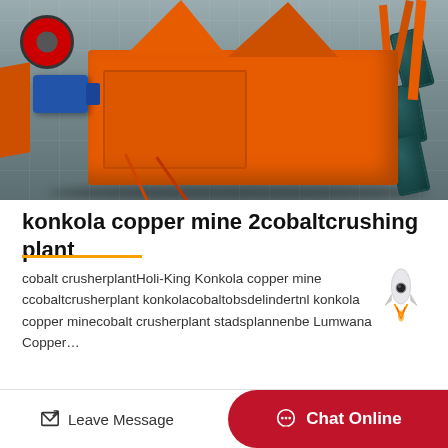[Figure (photo): Orange industrial copper/cobalt crushing plant machine with blue electric motor, red wheel, structural frame, and dark cylindrical components in background, displayed in a warehouse/factory setting]
konkola copper mine 2cobaltcrushing plant
cobalt crusherplantHoli-King Konkola copper mine ccobaltcrusherplant konkolacobaltobsdelindertnl konkola copper minecobalt crusherplant stadsplannenbe Lumwana Copper…
Leave Message   Chat Online